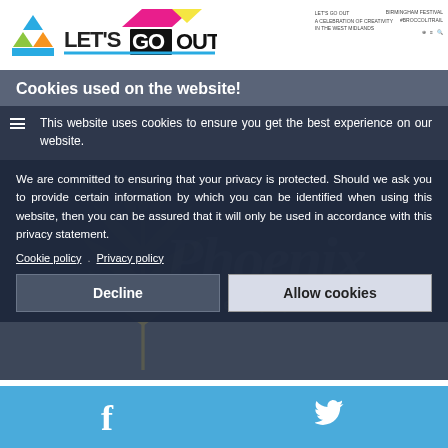LET'S GO OUT - A CELEBRATION OF CREATIVITY IN THE WEST MIDLANDS
Cookies used on the website!
This website uses cookies to ensure you get the best experience on our website.
We are committed to ensuring that your privacy is protected. Should we ask you to provide certain information by which you can be identified when using this website, then you can be assured that it will only be used in accordance with this privacy statement.
Cookie policy   Privacy policy
Decline    Allow cookies
[Figure (logo): Phoenix Newspaper watermark logo with wheat sheaf emblem]
Facebook and Twitter social media icons